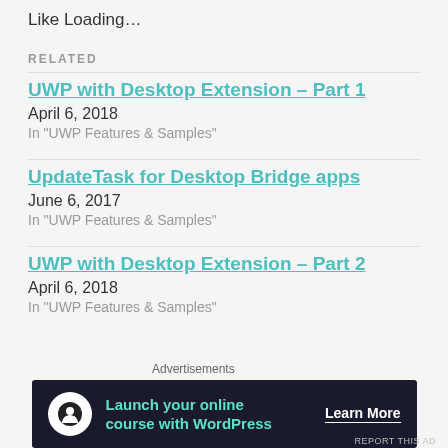Like Loading…
RELATED
UWP with Desktop Extension – Part 1
April 6, 2018
In "UWP Features & Samples"
UpdateTask for Desktop Bridge apps
June 6, 2017
In "UWP Features & Samples"
UWP with Desktop Extension – Part 2
April 6, 2018
In "UWP Features & Samples"
Advertisements
[Figure (other): Advertisement banner: Launch your online course with WordPress. Learn More button.]